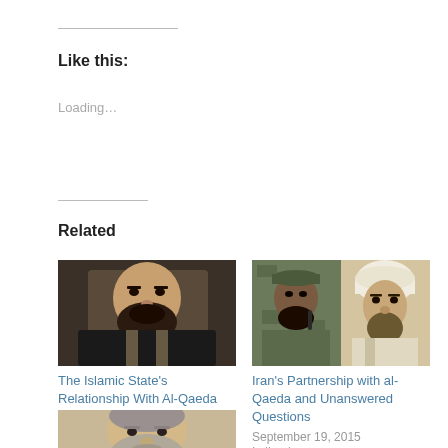Like this:
Loading…
Related
[Figure (photo): Photo of a bearded man in a black hoodie with apron straps]
The Islamic State's Relationship With Al-Qaeda
August 30, 2016
In 'Iraq'
[Figure (photo): Two figures side by side: a man in camouflage with cap holding microphone, and a man in white turban]
Iran's Partnership with al-Qaeda and Unanswered Questions
September 19, 2015
In 'Iran'
[Figure (photo): Partial photo of an older man with grey beard, cropped at bottom of page]